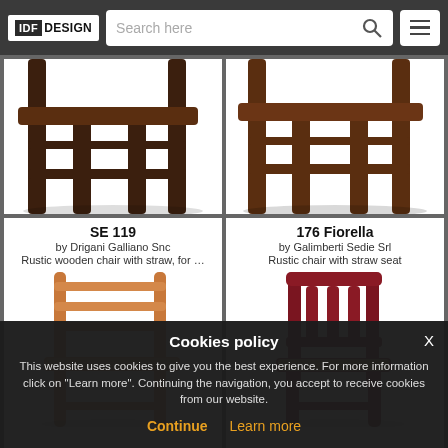IDF DESIGN — Search here [search icon] [menu icon]
[Figure (photo): Bottom portions of two dark wooden chairs/stools on white background, top row left card]
[Figure (photo): Bottom portions of two dark wooden chairs/stools on white background, top row right card]
SE 119
by Drigani Galliano Snc
Rustic wooden chair with straw, for …
[Figure (photo): Light wood ladder-back chair with straw/rush woven seat]
176 Fiorella
by Galimberti Sedie Srl
Rustic chair with straw seat
[Figure (photo): Dark red/burgundy wooden chair with slatted back and straw woven seat]
Cookies policy
This website uses cookies to give you the best experience. For more information click on "Learn more". Continuing the navigation, you accept to receive cookies from our website.
Continue  Learn more  X